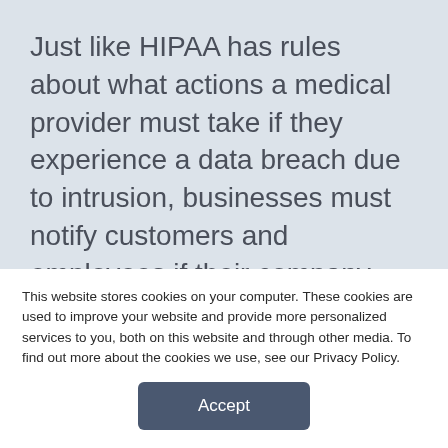Just like HIPAA has rules about what actions a medical provider must take if they experience a data breach due to intrusion, businesses must notify customers and employees if their company data is stolen by a cybercriminal.
And, just like organizations regulated by HIPAA, if businesses fail to disclose a breach in a certain period of time, they face fines that grow with the severity of the situation.
This website stores cookies on your computer. These cookies are used to improve your website and provide more personalized services to you, both on this website and through other media. To find out more about the cookies we use, see our Privacy Policy.